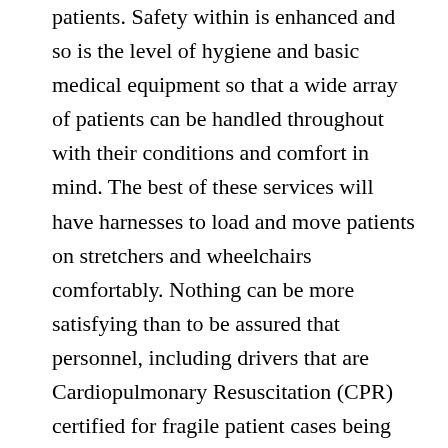patients. Safety within is enhanced and so is the level of hygiene and basic medical equipment so that a wide array of patients can be handled throughout with their conditions and comfort in mind. The best of these services will have harnesses to load and move patients on stretchers and wheelchairs comfortably. Nothing can be more satisfying than to be assured that personnel, including drivers that are Cardiopulmonary Resuscitation (CPR) certified for fragile patient cases being transited. With such high quality, timely transportation available for patients in communities can rest assured of improved wellness; many individuals are therefore adding credible contacts of these entities alongside those of common names such as